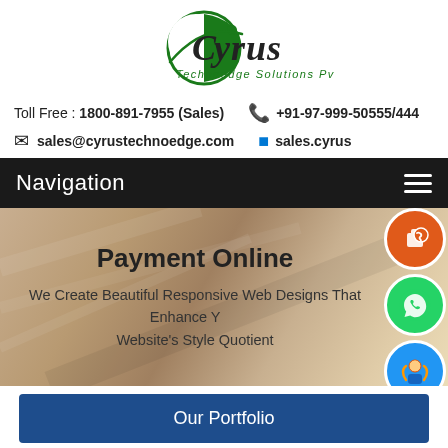[Figure (logo): Cyrus Technoedge Solutions Pvt Ltd logo - green crescent with stylized text]
Toll Free : 1800-891-7955 (Sales)   📞 +91-97-999-50555/444
✉ sales@cyrustechnoedge.com   🔵 sales.cyrus
Navigation
[Figure (photo): Background image of a desk with papers, warm beige/tan tones]
Payment Online
We Create Beautiful Responsive Web Designs That Enhance Your Website's Style Quotient
Our Portfolio
Discuss a project